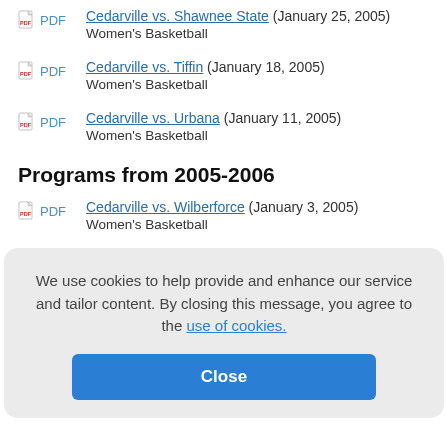PDF Cedarville vs. Shawnee State (January 25, 2005)
Women's Basketball
PDF Cedarville vs. Tiffin (January 18, 2005)
Women's Basketball
PDF Cedarville vs. Urbana (January 11, 2005)
Women's Basketball
Programs from 2005-2006
PDF Cedarville vs. Wilberforce (January 3, 2005)
Women's Basketball
We use cookies to help provide and enhance our service and tailor content. By closing this message, you agree to the use of cookies.
PDF Cedarville vs. Point Loma (November 30, 2004)
Women's Basketball
PDF Cedarville vs. Malone (November 23, 2004)